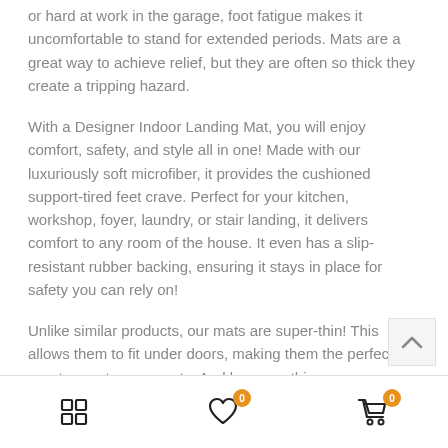or hard at work in the garage, foot fatigue makes it uncomfortable to stand for extended periods. Mats are a great way to achieve relief, but they are often so thick they create a tripping hazard.
With a Designer Indoor Landing Mat, you will enjoy comfort, safety, and style all in one! Made with our luxuriously soft microfiber, it provides the cushioned support-tired feet crave. Perfect for your kitchen, workshop, foyer, laundry, or stair landing, it delivers comfort to any room of the house. It even has a slip-resistant rubber backing, ensuring it stays in place for safety you can rely on!
Unlike similar products, our mats are super-thin! This allows them to fit under doors, making them the perfect way to greet your guests. And because the...
Grid icon | Wishlist (0) | Cart (0)